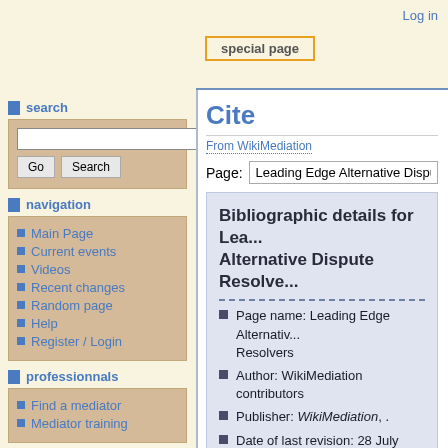Log in
special page
Cite
From WikiMediation
Page: Leading Edge Alternative Dispute Re...
search
navigation
Main Page
Current events
Videos
Recent changes
Random page
Help
Register / Login
professionnals
Find a mediator
Mediator training
wikimediation partner
Bibliographic details for Leading Edge Alternative Dispute Resolvers
Page name: Leading Edge Alternative Dispute Resolvers
Author: WikiMediation contributors
Publisher: WikiMediation, .
Date of last revision: 28 July 2010 06...
Date retrieved: 31 August 2022 03:38...
Permanent URL: http://en.wikimediation.org/index.php...title=Leading_Edge_Alternative_Disp...
Page Version ID: 2874